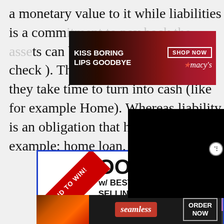a monetary value to it while liabilities is a commitment to repay assets can be liquid ( example: bank check ). They are non-liquid when they take time to turn into cash (like for example Home). Whereas liability is an obligation that has to be repaid ( example: home loan, car loan etc.,)
[Figure (other): Macy's advertisement banner: 'KISS BORING LIPS GOODBYE' with SHOP NOW button and Macy's star logo]
[Figure (other): Black video overlay panel]
[Figure (other): BID TO WIN auction advertisement: ZOOM w/ BEST-SELLING AUTHOR with close button]
[Figure (other): Seamless food delivery advertisement with pizza image and ORDER NOW button]